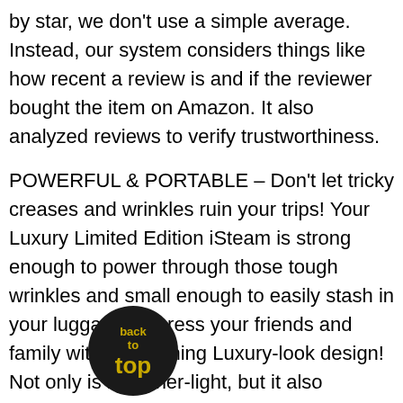by star, we don't use a simple average. Instead, our system considers things like how recent a review is and if the reviewer bought the item on Amazon. It also analyzed reviews to verify trustworthiness.
POWERFUL & PORTABLE – Don't let tricky creases and wrinkles ruin your trips! Your Luxury Limited Edition iSteam is strong enough to power through those tough wrinkles and small enough to easily stash in your luggage. Impress your friends and family with its stunning Luxury-look design! Not only is it feather-light, but it also includes features like a Nano-Polymer Filter that purifies water and prevents calcification inside the tank.
INNOVATIVE 360° TECHNOLOGY, NO WATER SPOTS LEFT BEHIND – Ordinary clothes steamers tend to spurt or leak water, which can damage your garments. But the